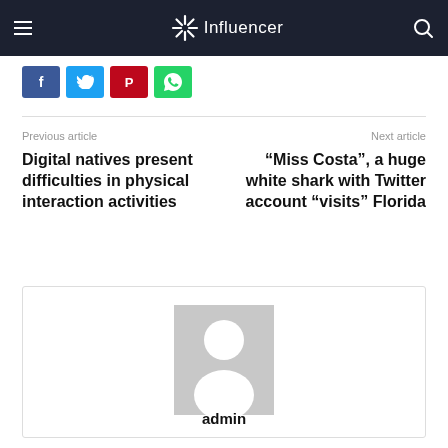Influencer
[Figure (screenshot): Social share buttons: Facebook (blue), Twitter (cyan), Pinterest (red), WhatsApp (green)]
Previous article
Next article
Digital natives present difficulties in physical interaction activities
“Miss Costa”, a huge white shark with Twitter account “visits” Florida
[Figure (photo): Generic user/admin avatar placeholder (grey silhouette)]
admin